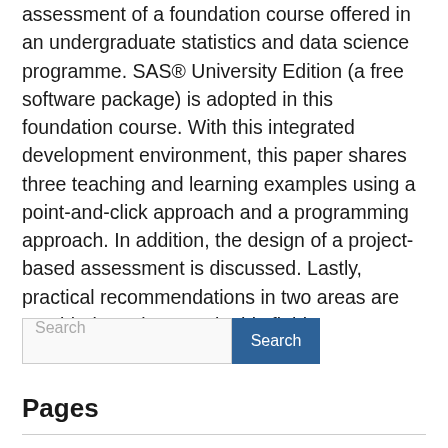assessment of a foundation course offered in an undergraduate statistics and data science programme. SAS® University Edition (a free software package) is adopted in this foundation course. With this integrated development environment, this paper shares three teaching and learning examples using a point-and-click approach and a programming approach. In addition, the design of a project-based assessment is discussed. Lastly, practical recommendations in two areas are provided to educators in this field.
Search
Pages